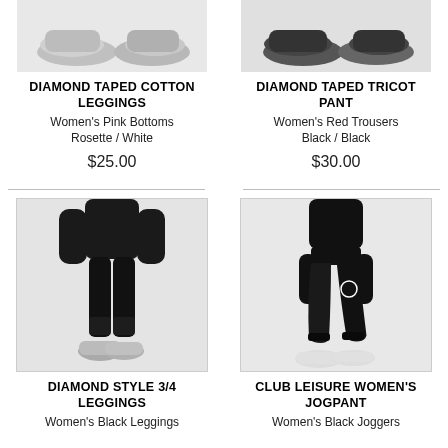[Figure (photo): Partial product image of Diamond Taped Cotton Leggings, showing sneakers at top]
[Figure (photo): Partial product image of Diamond Taped Tricot Pant, showing sneakers at top]
DIAMOND TAPED COTTON LEGGINGS
Women's Pink Bottoms
Rosette / White
DIAMOND TAPED TRICOT PANT
Women's Red Trousers
Black / Black
$25.00
$30.00
[Figure (photo): Woman wearing black 3/4 leggings with grey sneakers]
[Figure (photo): Woman wearing black jogpant with white sneakers]
DIAMOND STYLE 3/4 LEGGINGS
Women's Black Leggings
Black / Black
CLUB LEISURE WOMEN'S JOGPANT
Women's Black Joggers
Black / All